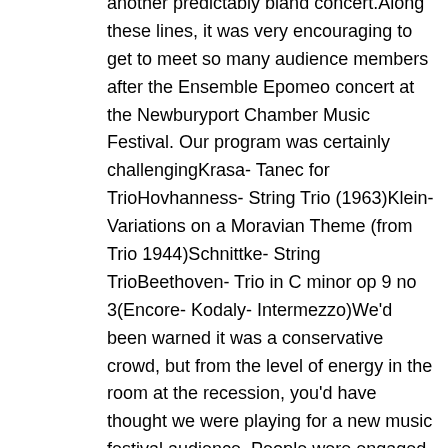another predictably bland concert.Along these lines, it was very encouraging to get to meet so many audience members after the Ensemble Epomeo concert at the Newburyport Chamber Music Festival. Our program was certainly challengingKrasa- Tanec for TrioHovhanness- String Trio (1963)Klein- Variations on a Moravian Theme (from Trio 1944)Schnittke- String TrioBeethoven- Trio in C minor op 9 no 3(Encore- Kodaly- Intermezzo)We'd been warned it was a conservative crowd, but from the level of energy in the room at the recession, you'd have thought we were playing for a new music festival audience. People were engaged, fired up, talking about what the pieces meant, about what they had experienced. As often happens, we had people literally jump out of their chairs